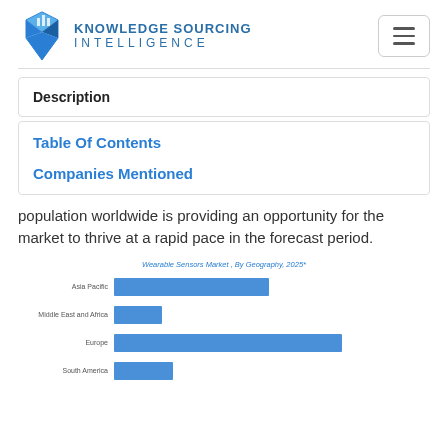[Figure (logo): Knowledge Sourcing Intelligence logo with blue crystal/building icon and text]
Description
Table Of Contents
Companies Mentioned
population worldwide is providing an opportunity for the market to thrive at a rapid pace in the forecast period.
[Figure (bar-chart): Wearable Sensors Market, By Geography, 2025*]